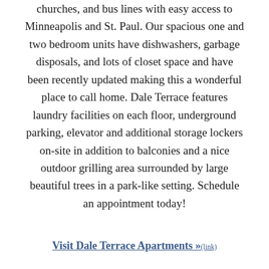churches, and bus lines with easy access to Minneapolis and St. Paul. Our spacious one and two bedroom units have dishwashers, garbage disposals, and lots of closet space and have been recently updated making this a wonderful place to call home. Dale Terrace features laundry facilities on each floor, underground parking, elevator and additional storage lockers on-site in addition to balconies and a nice outdoor grilling area surrounded by large beautiful trees in a park-like setting. Schedule an appointment today!
Visit Dale Terrace Apartments »(link)